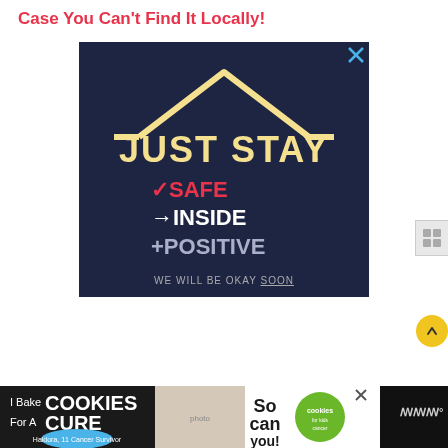Case You Can't Find It Locally!
[Figure (illustration): Dark navy blue advertisement graphic with hand-drawn style text. A house roof outline in cream/yellow at top. Text reads: JUST STAY (large yellow), checkmark SAFE (red), arrow INSIDE (white), plus POSITIVE (white). Bottom text: WE WILL BE OKAY SOON (small white, with SOON underlined). Close X button in top right.]
[Figure (illustration): Bottom banner ad on black background. Left section shows 'I Bake COOKIES For A CURE' text in white/green on dark background with Haldora, 11 Cancer Survivor badge. Middle shows a woman photo. Right shows 'So can you!' text and green Cookies for Kids Cancer logo. Close X button on right.]